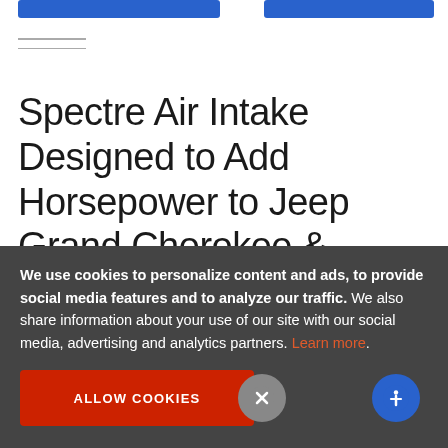[Figure (screenshot): Two blue button elements at top of page]
Spectre Air Intake Designed to Add Horsepower to Jeep Grand Cherokee & Dodge
We use cookies to personalize content and ads, to provide social media features and to analyze our traffic. We also share information about your use of our site with our social media, advertising and analytics partners. Learn more.